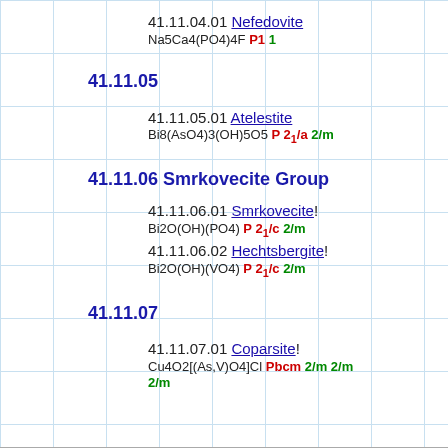41.11.04.01 Nefedovite Na5Ca4(PO4)4F P1 1
41.11.05
41.11.05.01 Atelestite Bi8(AsO4)3(OH)5O5 P 2_1/a 2/m
41.11.06 Smrkovecite Group
41.11.06.01 Smrkovecite! Bi2O(OH)(PO4) P 2_1/c 2/m
41.11.06.02 Hechtsbergite! Bi2O(OH)(VO4) P 2_1/c 2/m
41.11.07
41.11.07.01 Coparsite! Cu4O2[(As,V)O4]Cl Pbcm 2/m 2/m 2/m